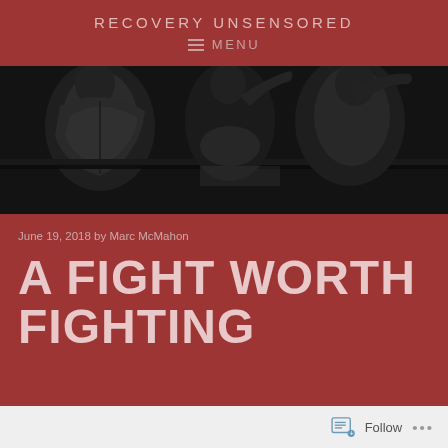RECOVERY UNSENSORED
≡  MENU
[Figure (photo): Black and white photograph of boxers/fighters in a ring, showing their backs, dramatic dark lighting]
June 19, 2018 by Marc McMahon
A FIGHT WORTH FIGHTING